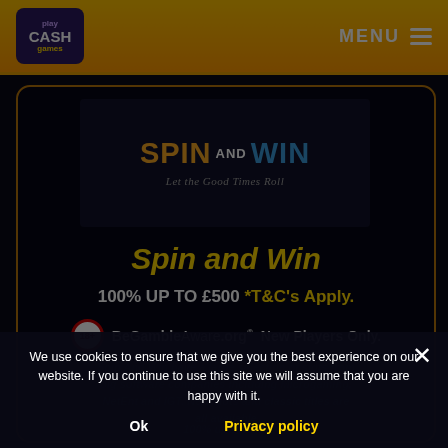Play Cash Games | MENU
[Figure (logo): Spin and Win casino logo with tagline 'Let the Good Times Roll']
Spin and Win
100% UP TO £500 *T&C's Apply.
18+ BeGambleAware.org New Players Only.
Spin And Win have a large selection of slots from big software companies including Microgaming, NetEnt and IGT. New slots and classic titles are all available
100% up to £500
We use cookies to ensure that we give you the best experience on our website. If you continue to use this site we will assume that you are happy with it.
Ok    Privacy policy